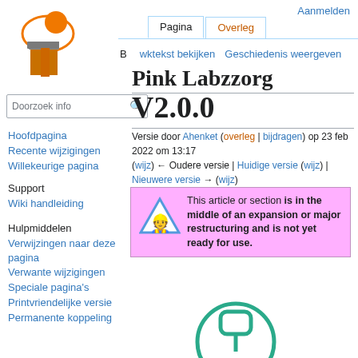Aanmelden
[Figure (logo): Wiki logo with orange sphere and letter T]
Lezen
Bewerktekst bekijken | Geschiedenis weergeven
Pagina | Overleg
Doorzoek info (search box)
Pink Labzzorg V2.0.0
Versie door Ahenket (overleg | bijdragen) op 23 feb 2022 om 13:17 (wijz) ← Oudere versie | Huidige versie (wijz) | Nieuwere versie → (wijz)
This article or section is in the middle of an expansion or major restructuring and is not yet ready for use.
Hoofdpagina
Recente wijzigingen
Willekeurige pagina
Support
Wiki handleiding
Hulpmiddelen
Verwijzingen naar deze pagina
Verwante wijzigingen
Speciale pagina's
Printvriendelijke versie
Permanente koppeling
[Figure (illustration): Teal/green circle icon with rounded square and vertical line (pin/location icon)]